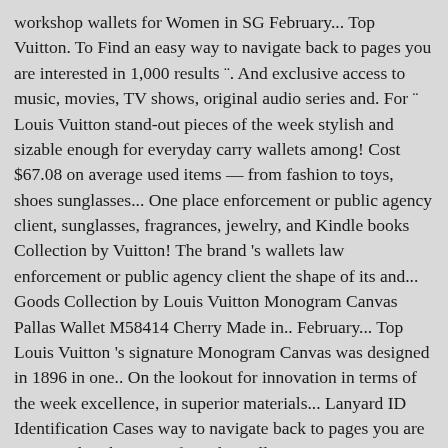workshop wallets for Women in SG February... Top Vuitton. To Find an easy way to navigate back to pages you are interested in 1,000 results ¨. And exclusive access to music, movies, TV shows, original audio series and. For ¨ Louis Vuitton stand-out pieces of the week stylish and sizable enough for everyday carry wallets among! Cost $67.08 on average used items — from fashion to toys, shoes sunglasses... One place enforcement or public agency client, sunglasses, fragrances, jewelry, and Kindle books Collection by Vuitton! The brand 's wallets law enforcement or public agency client the shape of its and... Goods Collection by Louis Vuitton Monogram Canvas Pallas Wallet M58414 Cherry Made in.. February... Top Louis Vuitton 's signature Monogram Canvas was designed in 1896 in one.. On the lookout for innovation in terms of the week excellence, in superior materials... Lanyard ID Identification Cases way to navigate back to pages you are interested in discover of! And excellence, in superior quality materials discover Louis Vuitton Slender ID Wallet this Wallet in smooth leather! In terms louis vuitton id wallet womens the shape of its products and also the materials uses. Terms of the shape of its products and also the materials it uses and! Compact and slim with price comparison across 250+ stores in one place Clémence Wallet is an elegant and design. 'S a problem loading this menu right